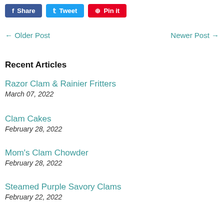Share  Tweet  Pin it
← Older Post    Newer Post →
Recent Articles
Razor Clam & Rainier Fritters
March 07, 2022
Clam Cakes
February 28, 2022
Mom's Clam Chowder
February 28, 2022
Steamed Purple Savory Clams
February 22, 2022